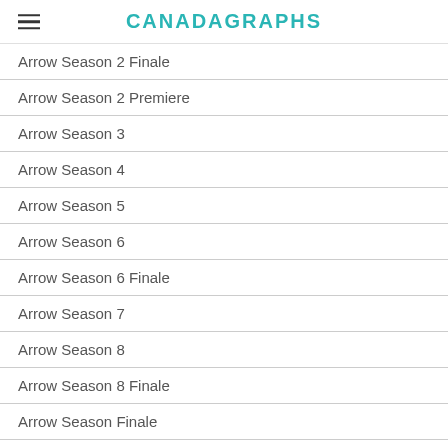CANADAGRAPHS
Arrow Season 2 Finale
Arrow Season 2 Premiere
Arrow Season 3
Arrow Season 4
Arrow Season 5
Arrow Season 6
Arrow Season 6 Finale
Arrow Season 7
Arrow Season 8
Arrow Season 8 Finale
Arrow Season Finale
Arrow Series Finale
Arrow Stunt
Arrow Stunt Double
Arsenal